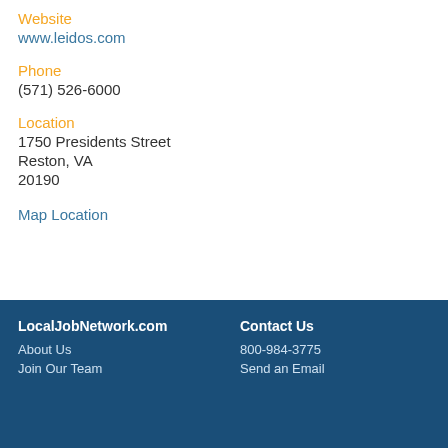Website
www.leidos.com
Phone
(571) 526-6000
Location
1750 Presidents Street
Reston, VA
20190
Map Location
LocalJobNetwork.com
About Us
Join Our Team
Contact Us
800-984-3775
Send an Email